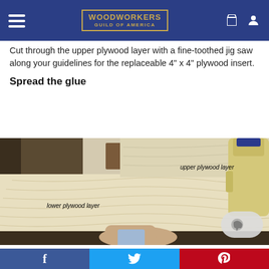Woodworkers Guild of America
Cut through the upper plywood layer with a fine-toothed jig saw along your guidelines for the replaceable 4” x 4” plywood insert.
Spread the glue
[Figure (photo): A person spreading glue on a lower plywood layer. A bottle of wood glue is visible on the right. Labels indicate 'upper plywood layer' (top right) and 'lower plywood layer' (middle left).]
f  (Facebook)  •  Twitter bird icon  •  Pinterest P icon